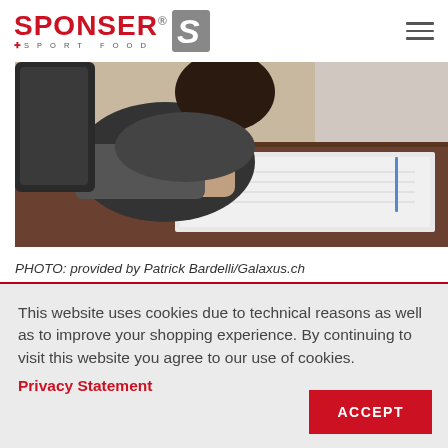[Figure (logo): SPONSER Sport Food logo with red text and S icon]
[Figure (photo): Person sitting at a desk with papers, viewed from above/side angle]
PHOTO: provided by Patrick Bardelli/Galaxus.ch
This website uses cookies due to technical reasons as well as to improve your shopping experience. By continuing to visit this website you agree to our use of cookies.
Privacy Statement
ACCEPT